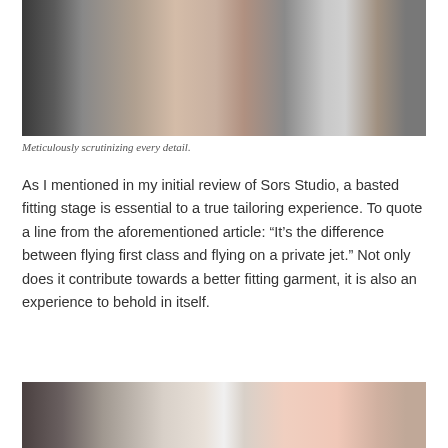[Figure (photo): Two people in a clothing studio or tailor shop, one wearing a pink shirt being fitted, the other in a grey vest suit. Clothing racks and a desk visible in background.]
Meticulously scrutinizing every detail.
As I mentioned in my initial review of Sors Studio, a basted fitting stage is essential to a true tailoring experience. To quote a line from the aforementioned article: “It’s the difference between flying first class and flying on a private jet.” Not only does it contribute towards a better fitting garment, it is also an experience to behold in itself.
[Figure (photo): Interior of a tailor shop showing clothing racks with garments and a pink fabric or garment on the right side.]